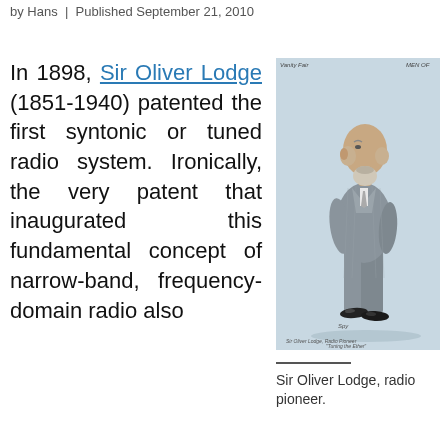by Hans | Published September 21, 2010
In 1898, Sir Oliver Lodge (1851-1940) patented the first syntonic or tuned radio system. Ironically, the very patent that inaugurated this fundamental concept of narrow-band, frequency-domain radio also
[Figure (illustration): Vanity Fair caricature illustration of Sir Oliver Lodge, an elderly gentleman in a grey pinstripe suit standing in profile, with white beard and bald head with grey hair on sides. Published in Vanity Fair magazine.]
Sir Oliver Lodge, radio pioneer.